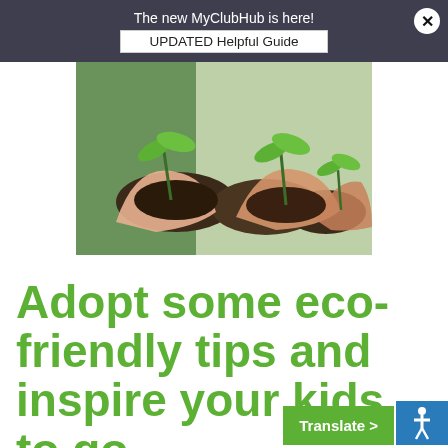The new MyClubHub is here! UPDATED Helpful Guide
[Figure (photo): Hands holding small seedlings with soil, eco/nature themed image]
Adopt some eco-friendly tips and inspire your kids to go
Translate >